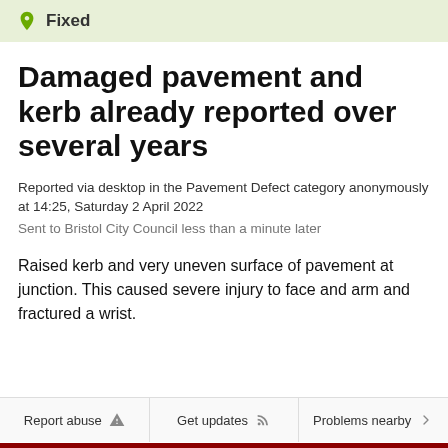Fixed
Damaged pavement and kerb already reported over several years
Reported via desktop in the Pavement Defect category anonymously at 14:25, Saturday 2 April 2022
Sent to Bristol City Council less than a minute later
Raised kerb and very uneven surface of pavement at junction. This caused severe injury to face and arm and fractured a wrist.
Report abuse | Get updates | Problems nearby